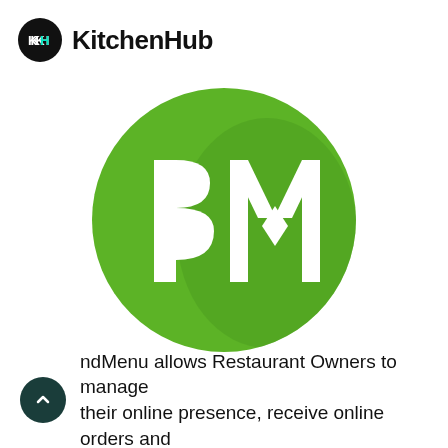[Figure (logo): KitchenHub logo: black circle with white 'KH' text in teal/white, followed by bold text 'KitchenHub']
[Figure (logo): BrandMenu logo: large green circle with white stylized 'BM' letters, with a shadow effect on the right side]
ndMenu allows Restaurant Owners to manage their online presence, receive online orders and